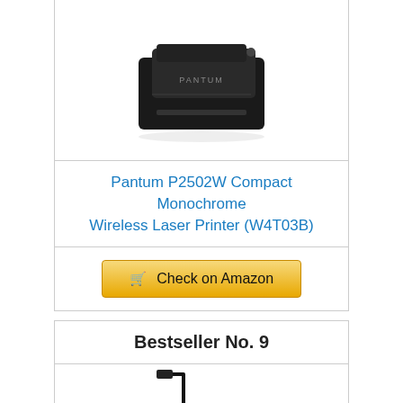[Figure (photo): Photo of Pantum P2502W compact monochrome wireless laser printer, black color, top view]
Pantum P2502W Compact Monochrome Wireless Laser Printer (W4T03B)
Check on Amazon
Bestseller No. 9
[Figure (photo): Photo of a USB cable (Type A to Type B) positioned above a white Canon printer/scanner device]